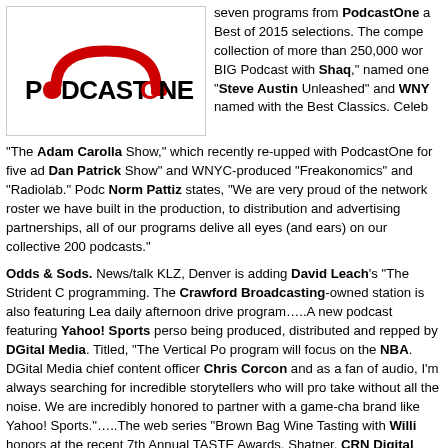[Figure (logo): PodcastOne logo with red headphones arc above black text reading PODCASTONE]
seven programs from PodcastOne a Best of 2015 selections. The compe collection of more than 250,000 wor BIG Podcast with Shaq," named one "Steve Austin Unleashed" and WNY named with the Best Classics. Celeb
"The Adam Carolla Show," which recently re-upped with PodcastOne for five ad Dan Patrick Show" and WNYC-produced "Freakonomics" and "Radiolab." Pod Norm Pattiz states, "We are very proud of the network roster we have built in the production, to distribution and advertising partnerships, all of our programs delive all eyes (and ears) on our collective 200 podcasts."
Odds & Sods. News/talk KLZ, Denver is adding David Leach's "The Strident C programming. The Crawford Broadcasting-owned station is also featuring Lea daily afternoon drive program…..A new podcast featuring Yahoo! Sports perso being produced, distributed and repped by DGital Media. Titled, "The Vertical P program will focus on the NBA. DGital Media chief content officer Chris Corco and as a fan of audio, I'm always searching for incredible storytellers who will pr take without all the noise. We are incredibly honored to partner with a game-ch brand like Yahoo! Sports."…..The web series "Brown Bag Wine Tasting with Willi honors at the recent 7th Annual TASTE Awards. Shatner, CRN Digital Talk Rad Sternberg partnered to create the show and sold it to Ora TV. CRN Digital Talk Michael J. Horn – who is also a sommelier – assists in the selecting and procuri broadcasting 38 live college bowl games beginning with this Saturday's Air Force The satcaster is also airing the College Football Playoff Semifinals and National